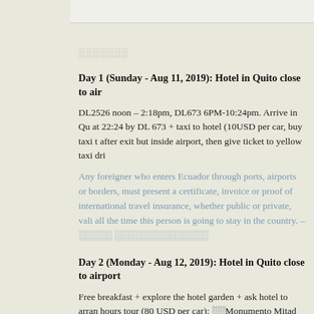░░░░░░░
Day 1 (Sunday - Aug 11, 2019): Hotel in Quito close to air
DL2526 noon – 2:18pm, DL673 6PM-10:24pm. Arrive in Qu at 22:24 by DL 673 + taxi to hotel (10USD per car, buy taxi t after exit but inside airport, then give ticket to yellow taxi dri
Any foreigner who enters Ecuador through ports, airports or borders, must present a certificate, invoice or proof of international travel insurance, whether public or private, vali all the time this person is going to stay in the country. – ░░░░ ░░░░░░░░░░░░░░
Day 2 (Monday - Aug 12, 2019): Hotel in Quito close to airport
Free breakfast + explore the hotel garden + ask hotel to arran hours tour (80 USD per car): ░░Monumento Mitad del Mundo